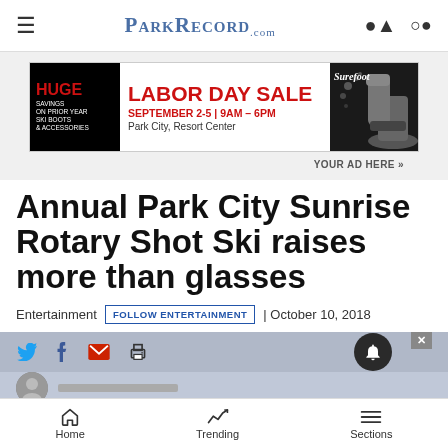ParkRecord.com — navigation bar with hamburger menu, logo, user and search icons
[Figure (infographic): Surefoot Labor Day Sale advertisement banner: HUGE SAVINGS ON PRIOR YEAR SKI BOOTS & ACCESSORIES | LABOR DAY SALE | SEPTEMBER 2-5 | 9AM - 6PM | Park City, Resort Center | Surefoot logo with ski boot image]
YOUR AD HERE »
Annual Park City Sunrise Rotary Shot Ski raises more than glasses
Entertainment  FOLLOW ENTERTAINMENT  | October 10, 2018
Home   Trending   Sections